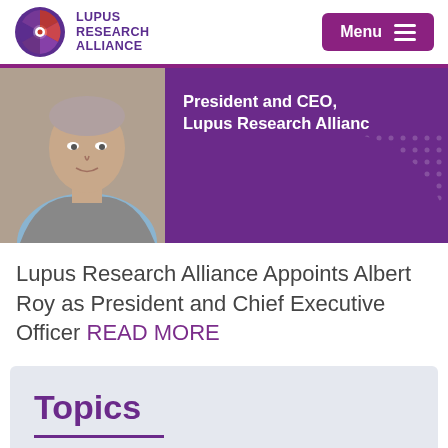Lupus Research Alliance — Menu
[Figure (photo): Hero image showing a man (Albert Roy) on the left with a purple background on the right displaying text 'President and CEO, Lupus Research Alliance']
Lupus Research Alliance Appoints Albert Roy as President and Chief Executive Officer READ MORE
Topics